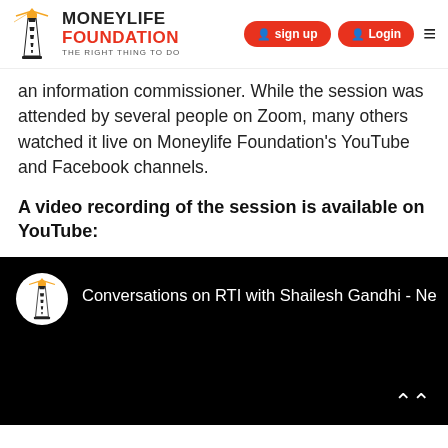MONEYLIFE FOUNDATION — THE RIGHT THING TO DO | sign up | Login
an information commissioner. While the session was attended by several people on Zoom, many others watched it live on Moneylife Foundation's YouTube and Facebook channels.
A video recording of the session is available on YouTube:
[Figure (screenshot): YouTube video embed showing 'Conversations on RTI with Shailesh Gandhi - Ne' with Moneylife Foundation logo avatar on black background]